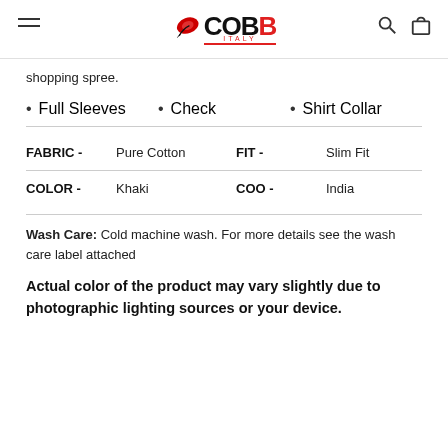COBB ITALY
shopping spree.
Full Sleeves
Check
Shirt Collar
| FABRIC - | Pure Cotton | FIT - | Slim Fit |
| COLOR - | Khaki | COO - | India |
Wash Care: Cold machine wash. For more details see the wash care label attached
Actual color of the product may vary slightly due to photographic lighting sources or your device.